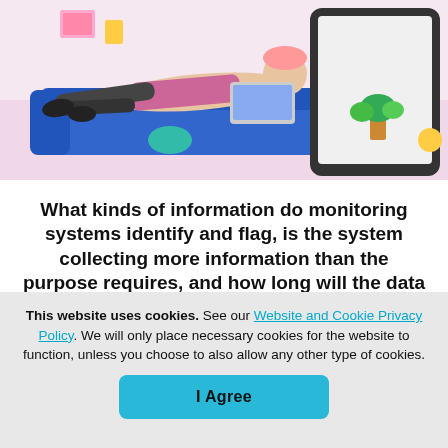[Figure (illustration): Illustration of a person lying on a blue couch using a laptop, with a large tablet device on the right side, and colorful room decor in the background.]
What kinds of information do monitoring systems identify and flag, is the system collecting more information than the purpose requires, and how long will the data be retained?
This website uses cookies. See our Website and Cookie Privacy Policy. We will only place necessary cookies for the website to function, unless you choose to also allow any other type of cookies.
I Agree